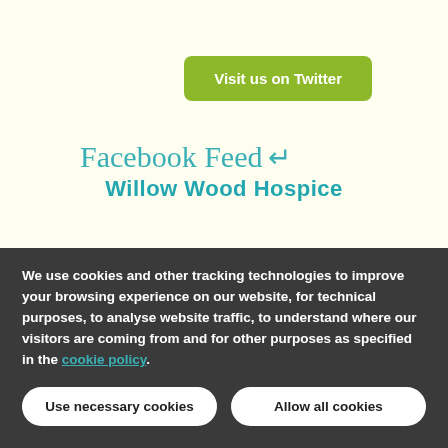Visit us on Twitter
Facebook Feed  Willow Wood Hospice
We use cookies and other tracking technologies to improve your browsing experience on our website, for technical purposes, to analyse website traffic, to understand where our visitors are coming from and for other purposes as specified in the cookie policy.
Use necessary cookies
Allow all cookies